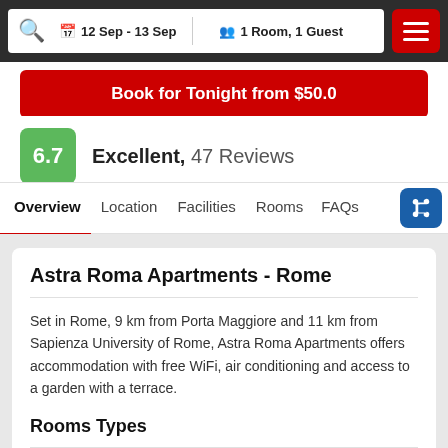12 Sep - 13 Sep   1 Room, 1 Guest
Book for Tonight from $50.0
6.7  Excellent,  47 Reviews
Overview  Location  Facilities  Rooms  FAQs
Astra Roma Apartments - Rome
Set in Rome, 9 km from Porta Maggiore and 11 km from Sapienza University of Rome, Astra Roma Apartments offers accommodation with free WiFi, air conditioning and access to a garden with a terrace.
Rooms Types
[Figure (photo): Room interior photo placeholder]